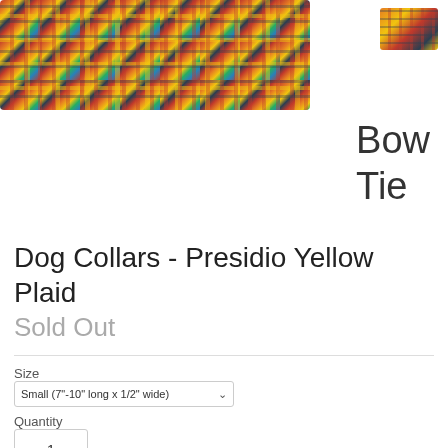[Figure (photo): Main product photo of plaid dog collar with colorful madras plaid fabric in red, yellow, blue, green pattern]
[Figure (photo): Thumbnail image of plaid bow tie accessory in yellow and red madras plaid]
Bow Tie
Dog Collars - Presidio Yellow Plaid
Sold Out
Size
Small (7"-10" long x 1/2" wide)
Quantity
1
Sold Out